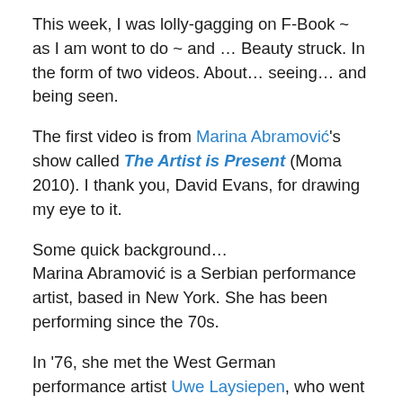This week, I was lolly-gagging on F-Book ~ as I am wont to do ~ and … Beauty struck. In the form of two videos. About… seeing… and being seen.
The first video is from Marina Abramović's show called The Artist is Present (Moma 2010). I thank you, David Evans, for drawing my eye to it.
Some quick background…
Marina Abramović is a Serbian performance artist, based in New York. She has been performing since the 70s.
In '76, she met the West German performance artist Uwe Laysiepen, who went by the single name Ulay. They began an intense creative collaboration and an equally intense love story.
In 1988, when they felt it was time to end their